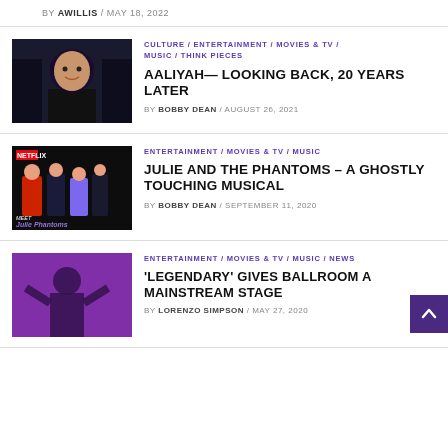BY AWILLIS / MAY 18, 2022
[Figure (photo): Photo of Aaliyah, dark hair, smiling, dark background]
CULTURE / ENTERTAINMENT / MOVIES & TV / MUSIC / THINK PIECES
AALIYAH— LOOKING BACK, 20 YEARS LATER
BY BOBBY DEAN / AUGUST 26, 2021
[Figure (photo): Julie and the Phantoms Netflix promo image, cast members on dark background with Netflix logo]
ENTERTAINMENT / MOVIES & TV / MUSIC
JULIE AND THE PHANTOMS – A GHOSTLY TOUCHING MUSICAL
BY BOBBY DEAN / SEPTEMBER 11, 2020
[Figure (photo): Person posing with arms raised against purple background]
ENTERTAINMENT / MOVIES & TV / MUSIC / NEWS
'LEGENDARY' GIVES BALLROOM A MAINSTREAM STAGE
BY LORENZO SIMPSON / MAY 27, 2020